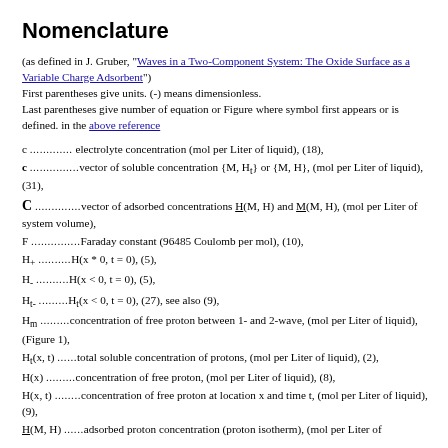Nomenclature
(as defined in J. Gruber, "Waves in a Two-Component System: The Oxide Surface as a Variable Charge Adsorbent")
First parentheses give units. (-) means dimensionless.
Last parentheses give number of equation or Figure where symbol first appears or is defined. in the above reference
c .............. electrolyte concentration (mol per Liter of liquid), (18),
c ............... vector of soluble concentration {M, Ht} or {M, H}, (mol per Liter of liquid), (31),
C ............... vector of adsorbed concentrations H(M, H) and M(M, H), (mol per Liter of system volume),
F ............... Faraday constant (96485 Coulomb per mol), (10),
H+ .............. H(x * 0, t = 0), (5),
H- .............. H(x < 0, t = 0), (5),
Ht- ............. Ht(x < 0, t = 0), (27), see also (9),
Hm .............. concentration of free proton between 1- and 2-wave, (mol per Liter of liquid), (Figure 1),
Ht(x, t) ....... total soluble concentration of protons, (mol per Liter of liquid), (2),
H(x) ........... concentration of free proton, (mol per Liter of liquid), (8),
H(x, t) ........ concentration of free proton at location x and time t, (mol per Liter of liquid), (9),
H(M, H) ....... adsorbed proton concentration (proton isotherm), (mol per Liter of